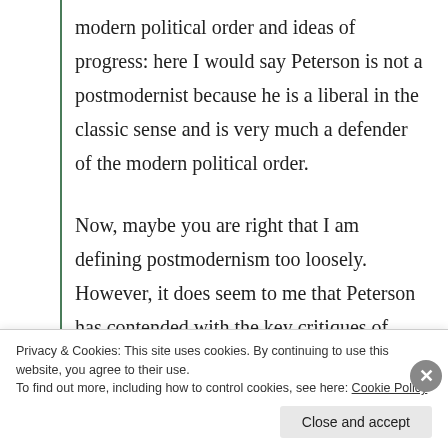modern political order and ideas of progress: here I would say Peterson is not a postmodernist because he is a liberal in the classic sense and is very much a defender of the modern political order.
Now, maybe you are right that I am defining postmodernism too loosely. However, it does seem to me that Peterson has contended with the key critiques of postmodernism (meaning, truth and political to some extent) and also retained some aspects of postmodernity (existentialism,
Privacy & Cookies: This site uses cookies. By continuing to use this website, you agree to their use.
To find out more, including how to control cookies, see here: Cookie Policy